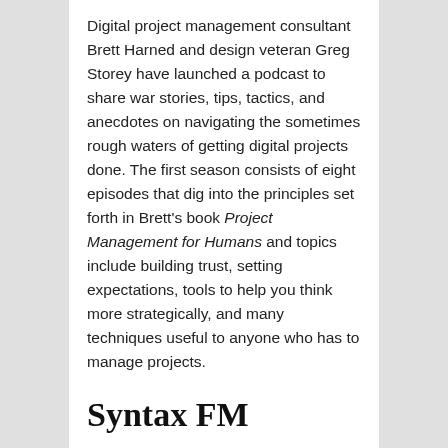Digital project management consultant Brett Harned and design veteran Greg Storey have launched a podcast to share war stories, tips, tactics, and anecdotes on navigating the sometimes rough waters of getting digital projects done. The first season consists of eight episodes that dig into the principles set forth in Brett's book Project Management for Humans and topics include building trust, setting expectations, tools to help you think more strategically, and many techniques useful to anyone who has to manage projects.
Syntax FM
[Figure (other): Broken/placeholder image labeled image10]